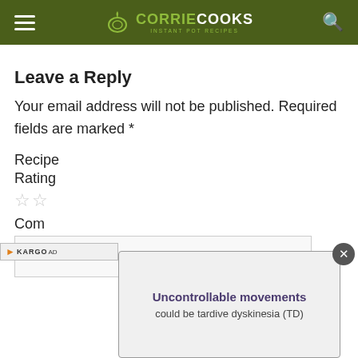CORRIE COOKS
Leave a Reply
Your email address will not be published. Required fields are marked *
Recipe
Rating
☆☆
Com
[Figure (screenshot): Kargo ad overlay banner showing 'Uncontrollable movements could be tardive dyskinesia (TD)' with a close button]